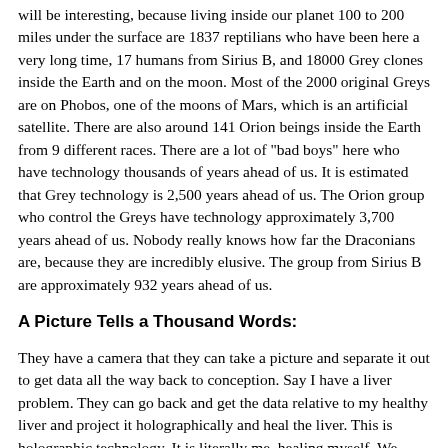will be interesting, because living inside our planet 100 to 200 miles under the surface are 1837 reptilians who have been here a very long time, 17 humans from Sirius B, and 18000 Grey clones inside the Earth and on the moon. Most of the 2000 original Greys are on Phobos, one of the moons of Mars, which is an artificial satellite. There are also around 141 Orion beings inside the Earth from 9 different races. There are a lot of "bad boys" here who have technology thousands of years ahead of us. It is estimated that Grey technology is 2,500 years ahead of us. The Orion group who control the Greys have technology approximately 3,700 years ahead of us. Nobody really knows how far the Draconians are, because they are incredibly elusive. The group from Sirius B are approximately 932 years ahead of us.
A Picture Tells a Thousand Words:
They have a camera that they can take a picture and separate it out to get data all the way back to conception. Say I have a liver problem. They can go back and get the data relative to my healthy liver and project it holographically and heal the liver. This is holographic technology. It is literally me, healing myself. We have the same capabilities using our minds. The key is to open it up to the idea that everything that we record in our mind is recorded holographically. Every single thought is recorded holographically. When you are trying to create something in your life, through your